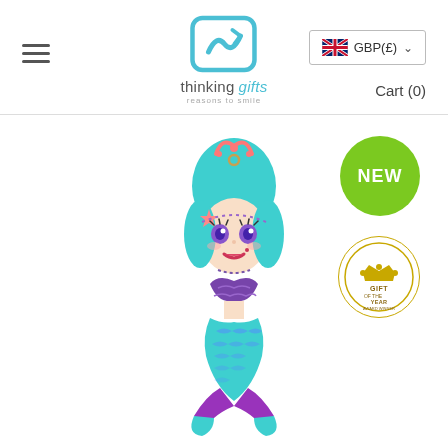[Figure (logo): Thinking Gifts logo with teal square icon and text 'thinking gifts - reasons to smile']
GBP(£)
Cart (0)
[Figure (photo): A mermaid character shaped item (likely a nail file or bookmark) with teal hair, purple outfit, and fish tail, shown as product image]
[Figure (other): Green circle badge with text 'NEW']
[Figure (other): Gift of the Year award badge, circular with gold crown and text 'GIFT OF YEAR AWARD WINNER']